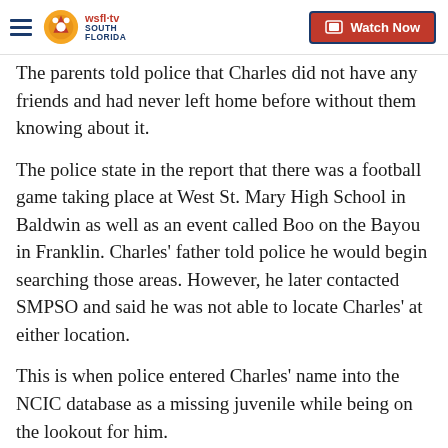WSFL-TV South Florida | Watch Now
The parents told police that Charles did not have any friends and had never left home before without them knowing about it.
The police state in the report that there was a football game taking place at West St. Mary High School in Baldwin as well as an event called Boo on the Bayou in Franklin. Charles’ father told police he would begin searching those areas. However, he later contacted SMPSO and said he was not able to locate Charles’ at either location.
This is when police entered Charles’ name into the NCIC database as a missing juvenile while being on the lookout for him.